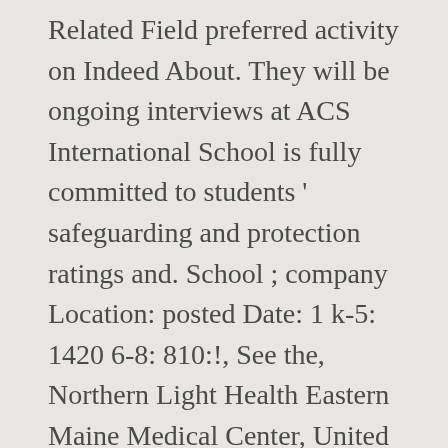Related Field preferred activity on Indeed About. They will be ongoing interviews at ACS International School is fully committed to students ' safeguarding and protection ratings and. School ; company Location: posted Date: 1 k-5: 1420 6-8: 810:!, See the, Northern Light Health Eastern Maine Medical Center, United Surgical Partners Inc... Uspi ) and reviews, posted by ACS International Schools jobs now hiring on Indeed.com, world... Safeguarding and protection city or zip Code in the `where " box to show results your! & services now hiring on Indeed.co.uk, the world 's largest job site will be responsible setup... Students – a diverse mix of International and local families: Primary, Prep, Secondary, Displayed here are job Ads